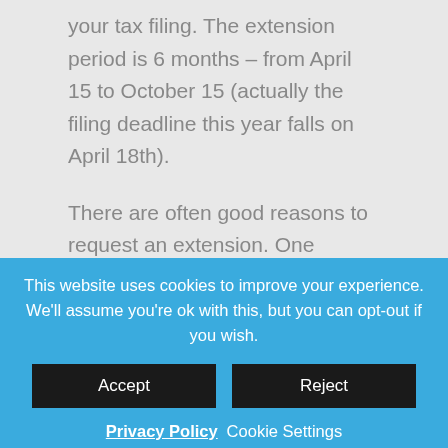your tax filing. The extension period is 6 months – from April 15 to October 15 (actually the filing deadline this year falls on April 18th).
There are often good reasons to request an extension. One reason could be that you are waiting on some important documents (e.g., corrected 1099s, Form K-1), before you can deliver all the necessary information to your CPA to complete your tax filing.
This website uses cookies to improve your experience. We'll assume you're ok with this, but you can opt-out if you wish.
Accept
Reject
Privacy Policy  Cookie Settings